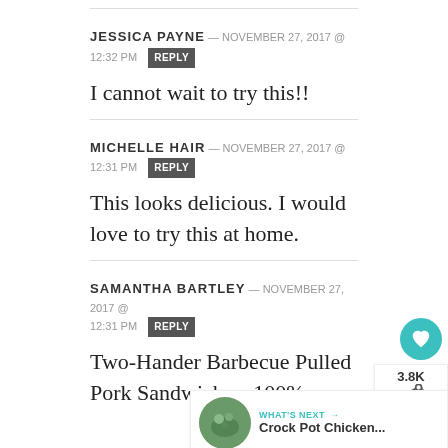JESSICA PAYNE — NOVEMBER 27, 2017 @ 12:32 PM  REPLY
I cannot wait to try this!!
MICHELLE HAIR — NOVEMBER 27, 2017 @ 12:31 PM  REPLY
This looks delicious. I would love to try this at home.
SAMANTHA BARTLEY — NOVEMBER 27, 2017 @ 12:31 PM  REPLY
Two-Hander Barbecue Pulled Pork Sandwiches, 100%